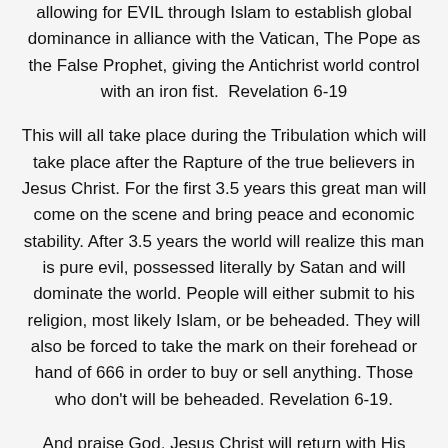allowing for EVIL through Islam to establish global dominance in alliance with the Vatican, The Pope as the False Prophet, giving the Antichrist world control with an iron fist.  Revelation 6-19
This will all take place during the Tribulation which will take place after the Rapture of the true believers in Jesus Christ. For the first 3.5 years this great man will come on the scene and bring peace and economic stability. After 3.5 years the world will realize this man is pure evil, possessed literally by Satan and will dominate the world. People will either submit to his religion, most likely Islam, or be beheaded. They will also be forced to take the mark on their forehead or hand of 666 in order to buy or sell anything. Those who don't will be beheaded. Revelation 6-19.
And praise God, Jesus Christ will return with His saints, those of us who were Rapture d, and destroy the Antichrist and his evil forces at the battle of Armageddon.  Revelation 16:16;